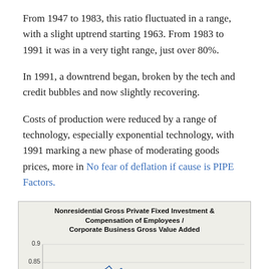From 1947 to 1983, this ratio fluctuated in a range, with a slight uptrend starting 1963. From 1983 to 1991 it was in a very tight range, just over 80%.
In 1991, a downtrend began, broken by the tech and credit bubbles and now slightly recovering.
Costs of production were reduced by a range of technology, especially exponential technology, with 1991 marking a new phase of moderating goods prices, more in No fear of deflation if cause is PIPE Factors.
[Figure (line-chart): Line chart showing ratio values around 0.8–0.9 from approximately 1947 to present, with a tight range just over 0.8 from 1983 to 1991, then a downtrend with fluctuations.]